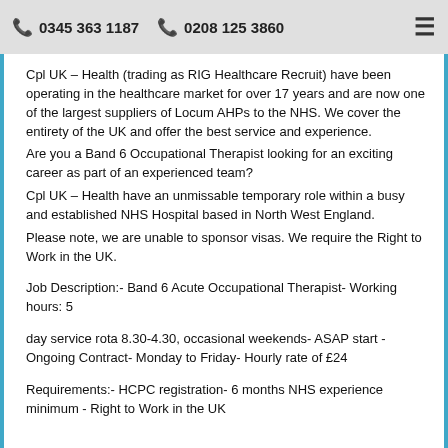0345 363 1187   0208 125 3860
Cpl UK – Health (trading as RIG Healthcare Recruit) have been operating in the healthcare market for over 17 years and are now one of the largest suppliers of Locum AHPs to the NHS. We cover the entirety of the UK and offer the best service and experience.
Are you a Band 6 Occupational Therapist looking for an exciting career as part of an experienced team?
Cpl UK – Health have an unmissable temporary role within a busy and established NHS Hospital based in North West England.
Please note, we are unable to sponsor visas. We require the Right to Work in the UK.
Job Description:- Band 6 Acute Occupational Therapist- Working hours: 5
day service rota 8.30-4.30, occasional weekends- ASAP start - Ongoing Contract- Monday to Friday- Hourly rate of £24
Requirements:- HCPC registration- 6 months NHS experience minimum - Right to Work in the UK